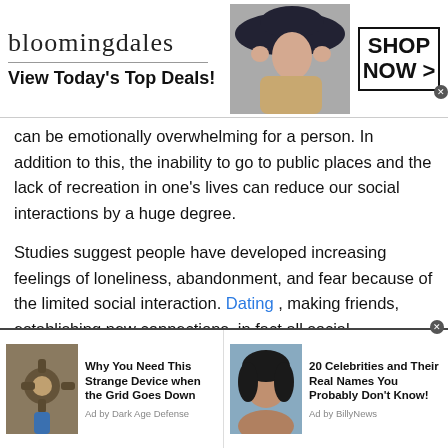[Figure (other): Bloomingdales advertisement banner: logo, model in hat, SHOP NOW button]
can be emotionally overwhelming for a person. In addition to this, the inability to go to public places and the lack of recreation in one's lives can reduce our social interactions by a huge degree.
Studies suggest people have developed increasing feelings of loneliness, abandonment, and fear because of the limited social interaction. Dating , making friends, establishing new connections, in fact all social interactions have been leached out of our lives. Research has also shown that mental illnesses because of loneliness and
[Figure (other): Bottom ad bar with two sponsored content items: 'Why You Need This Strange Device when the Grid Goes Down' by Dark Age Defense, and '20 Celebrities and Their Real Names You Probably Don't Know!' by BillyNews]